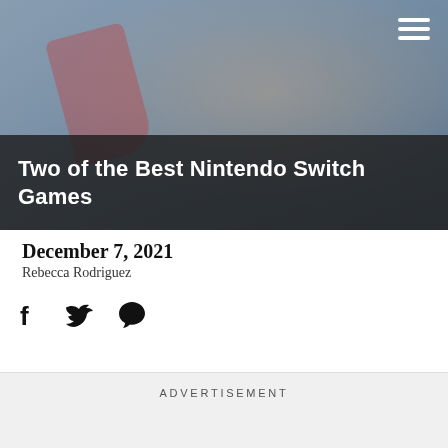[Figure (photo): Person holding a Nintendo Switch gaming console with red Joy-Con controllers, close-up shot]
Two of the Best Nintendo Switch Games
December 7, 2021
Rebecca Rodriguez
[Figure (other): Social media share icons: Facebook, Twitter, Pinterest]
ADVERTISEMENT
If you are a gamer, you've probably invested in a Nintendo Switch. This hybrid console is a tablet that can either be docked for use as